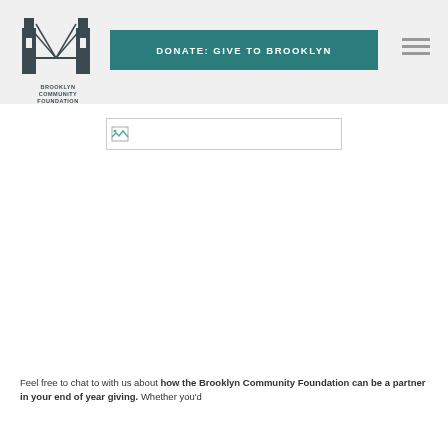[Figure (logo): Brooklyn Community Foundation logo with bridge illustration and text]
DONATE: GIVE TO BROOKLYN
[Figure (photo): Broken/unloaded image placeholder]
Feel free to chat to with us about how the Brooklyn Community Foundation can be a partner in your end of year giving. Whether you'd